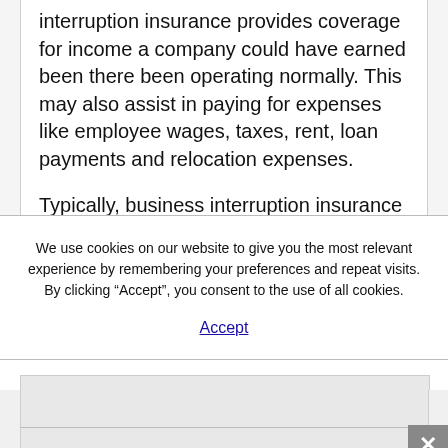interruption insurance provides coverage for income a company could have earned been there been operating normally. This may also assist in paying for expenses like employee wages, taxes, rent, loan payments and relocation expenses.
Typically, business interruption insurance
We use cookies on our website to give you the most relevant experience by remembering your preferences and repeat visits. By clicking “Accept”, you consent to the use of all cookies.
Accept